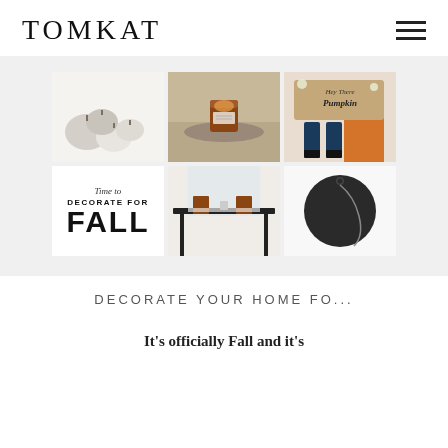TOMKAT
[Figure (photo): A collage/grid of 5 fall-themed photos plus a text card. Top row: white and grey pumpkins on white background, amber glass candle jar on tray, 'Hey There Pumpkin' doormat with orange boots and jeans. Bottom row: Text card reading 'Time to DECORATE FOR FALL', modern dining table with dark chairs, round dark slate board with cord.]
DECORATE YOUR HOME FO...
It's officially Fall and it's